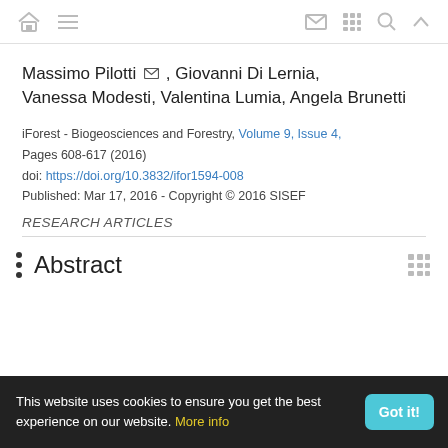Navigation bar with home, menu, email, grid, search, and expand icons
Massimo Pilotti, Giovanni Di Lernia, Vanessa Modesti, Valentina Lumia, Angela Brunetti
iForest - Biogeosciences and Forestry, Volume 9, Issue 4, Pages 608-617 (2016)
doi: https://doi.org/10.3832/ifor1594-008
Published: Mar 17, 2016 - Copyright © 2016 SISEF
RESEARCH ARTICLES
Abstract
This website uses cookies to ensure you get the best experience on our website. More info